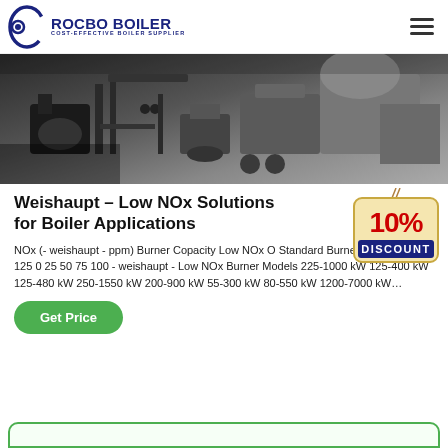ROCBO BOILER — COST-EFFECTIVE BOILER SUPPLIER
[Figure (photo): Industrial boiler equipment and machinery being serviced or installed outdoors]
Weishaupt – Low NOx Solutions for Boiler Applications
NOx (- weishaupt - ppm) Burner Copacity Low NOx O Standard Burner 75 100 50 25 125 0 25 50 75 100 - weishaupt - Low NOx Burner Models 225-1000 kW 125-400 kW 125-480 kW 250-1550 kW 200-900 kW 55-300 kW 80-550 kW 1200-7000 kW…
[Figure (illustration): 10% DISCOUNT badge/sign hanging on a rope]
Get Price